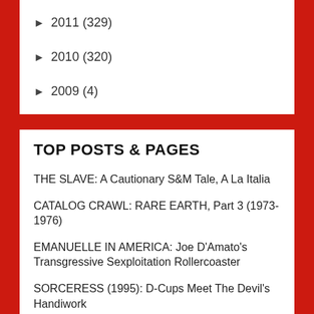► 2011 (329)
► 2010 (320)
► 2009 (4)
TOP POSTS & PAGES
THE SLAVE: A Cautionary S&M Tale, A La Italia
CATALOG CRAWL: RARE EARTH, Part 3 (1973-1976)
EMANUELLE IN AMERICA: Joe D'Amato's Transgressive Sexploitation Rollercoaster
SORCERESS (1995): D-Cups Meet The Devil's Handiwork
I SPIT ON YOUR GRAVE (1978 Version): The (Murder) Ballad Of Jennifer Hills
THE FANGO FILES Issue #10 - Fearing And Defending Your...